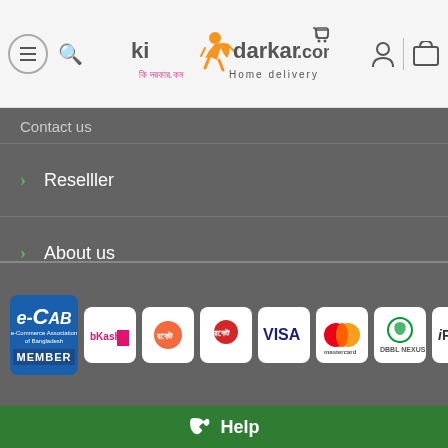[Figure (logo): KiDarkar.com logo with runner figure, Bengali text and Home Delivery tagline]
Contact us
Reselller
About us
Privacy Policy
Terms & Conditions
[Figure (logo): Payment method logos: e-CAB Member, bKash, Rocket, Rocket (red), Visa, Mastercard, DBBL Nexus, iPay]
Help